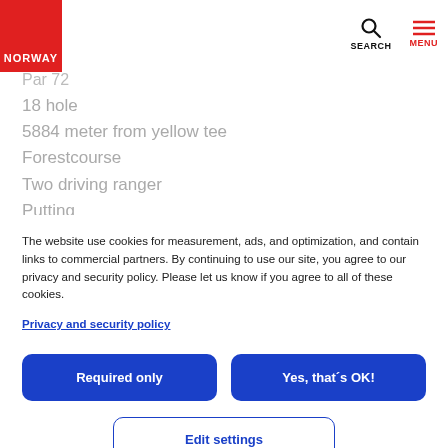NORWAY | SEARCH | MENU
Par 72
18 hole
5884 meter from yellow tee
Forestcourse
Two driving ranger
Putting
Driving green
The website use cookies for measurement, ads, and optimization, and contain links to commercial partners. By continuing to use our site, you agree to our privacy and security policy. Please let us know if you agree to all of these cookies.
Privacy and security policy
Required only
Yes, that´s OK!
Edit settings